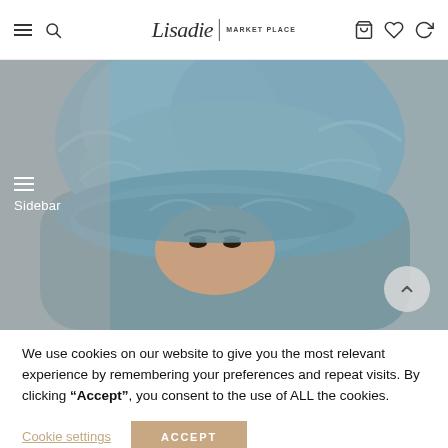Lisadie | MARKET PLACE
[Figure (photo): Woman wearing a fluffy blue-grey fur hat covering most of her face, with only her eyes and forehead visible. Neutral tan/brown background.]
We use cookies on our website to give you the most relevant experience by remembering your preferences and repeat visits. By clicking “Accept”, you consent to the use of ALL the cookies.
Cookie settings   ACCEPT